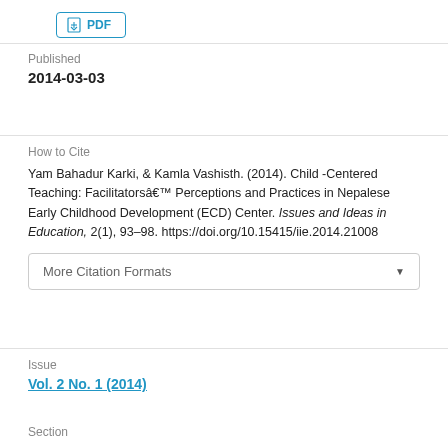[Figure (other): PDF download button with document icon]
Published
2014-03-03
How to Cite
Yam Bahadur Karki, & Kamla Vashisth. (2014). Child -Centered Teaching: Facilitatorsâ€™ Perceptions and Practices in Nepalese Early Childhood Development (ECD) Center. Issues and Ideas in Education, 2(1), 93–98. https://doi.org/10.15415/iie.2014.21008
More Citation Formats
Issue
Vol. 2 No. 1 (2014)
Section